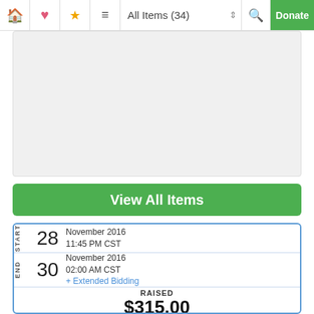All Items (34) | Donate
[Figure (photo): Image placeholder area (gray background)]
View All Items
| START | 28 | November 2016
11:45 PM CST |
| END | 30 | November 2016
02:00 AM CST
+ Extended Bidding |
|  | RAISED | $315.00
GOAL $15,083.00 |